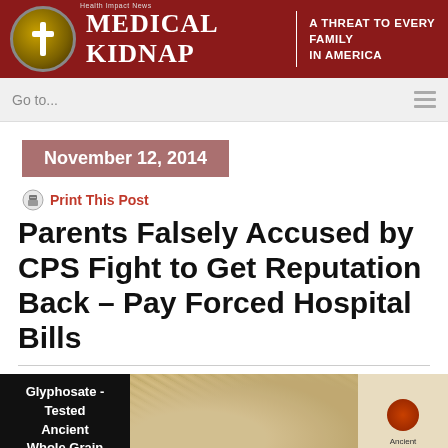MEDICAL KIDNAP | A THREAT TO EVERY FAMILY IN AMERICA
Go to...
November 12, 2014
Print This Post
Parents Falsely Accused by CPS Fight to Get Reputation Back – Pay Forced Hospital Bills
[Figure (photo): Advertisement image for Glyphosate-Tested Ancient Whole Grain Hot Cereal (2 lb. Bags) showing grain cereal on a plate and product packaging]